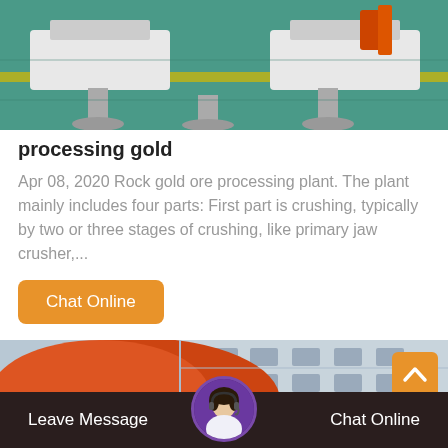[Figure (photo): Industrial equipment on a green-tiled floor with orange cables/connectors, viewed from above]
processing gold
Apr 08, 2020 Rock gold ore processing plant. The plant mainly includes four parts: First part is crushing, typically by two or three stages of crushing, like primary jaw crusher,...
[Figure (photo): Large orange cylindrical industrial drum/barrel equipment near a multi-story building facade]
Leave Message
Chat Online